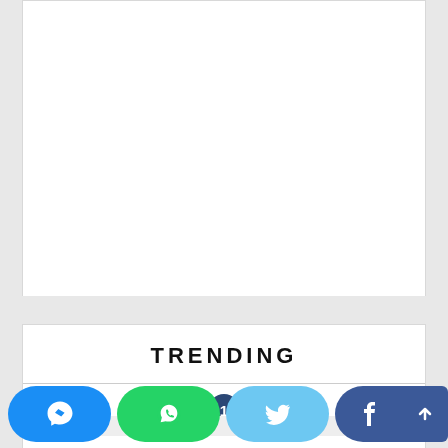[Figure (other): White card area (blank/image placeholder) at top of page]
TRENDING
[Figure (other): Numbered badge showing '1' in dark blue circle, above a gray image placeholder row]
[Figure (other): Social share bar at bottom with Messenger (blue), WhatsApp (green), Twitter (light blue), Facebook (dark blue) buttons, and scroll-to-top arrow button]